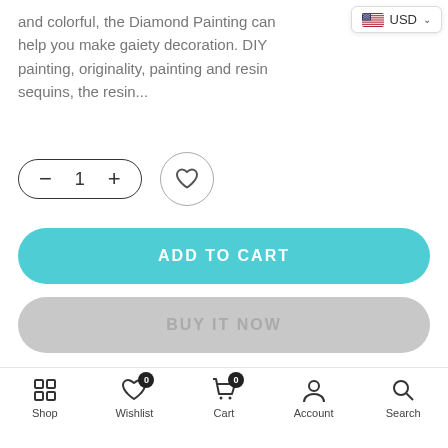and colorful, the Diamond Painting can help you make gaiety decoration. DIY painting, originality, painting and resin sequins, the resin...
[Figure (screenshot): Currency selector badge showing US flag and USD with dropdown chevron]
[Figure (screenshot): Quantity selector control with minus, 1, plus and heart wishlist button]
[Figure (screenshot): Teal ADD TO CART button]
[Figure (screenshot): Gray BUY IT NOW button]
[Figure (screenshot): Row of 5 payment method card icons]
Ask a Question
Shop | Wishlist 0 | Cart 0 | Account | Search